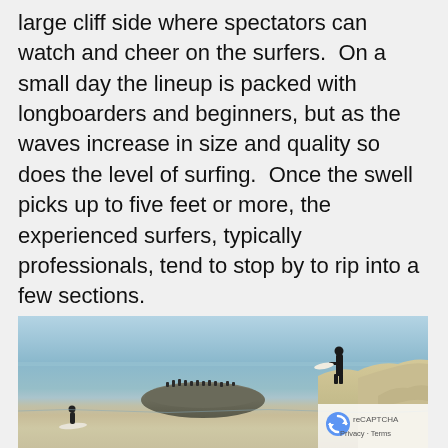large cliff side where spectators can watch and cheer on the surfers.  On a small day the lineup is packed with longboarders and beginners, but as the waves increase in size and quality so does the level of surfing.  Once the swell picks up to five feet or more, the experienced surfers, typically professionals, tend to stop by to rip into a few sections.
[Figure (photo): Coastal ocean scene showing rocky outcroppings with birds perched on a rock island in the water, a surfer standing on a right-side cliff holding a surfboard, and another small surfer visible at the bottom left near the water. Background shows calm blue ocean water.]